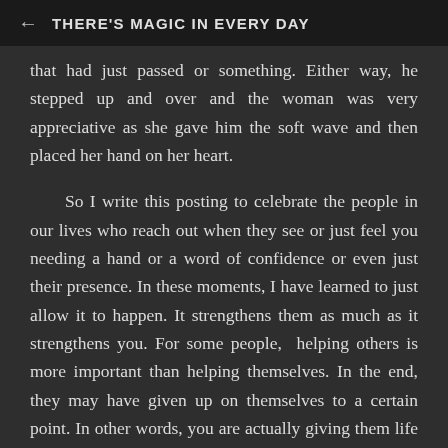THERE'S MAGIC IN EVERY DAY
that had just passed or something. Either way, he stepped up and over and the woman was very appreciative as she gave him the soft wave and then placed her hand on her heart.
So I write this posting to celebrate the people in our lives who reach out when they see or just feel you needing a hand or a word of confidence or even just their presence. In these moments, I have learned to just allow it to happen. It strengthens them as much as it strengthens you. For some people,  helping others is more important than helping themselves. In the end, they may have given up on themselves to a certain point. In other words, you are actually giving them life by allowing them to give you a little boost. This concept makes me watch certain people in my life a bit closer.